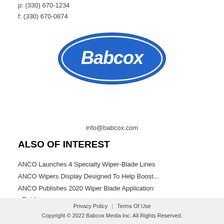p: (330) 670-1234
f: (330) 670-0874
[Figure (logo): Babcox logo — blue oval with white italic bold text 'Babcox' and a white inner border]
info@babcox.com
ALSO OF INTEREST
ANCO Launches 4 Specialty Wiper-Blade Lines
ANCO Wipers Display Designed To Help Boost...
ANCO Publishes 2020 Wiper Blade Application Guide
Privacy Policy  |  Terms Of Use
Copyright © 2022 Babcox Media Inc. All Rights Reserved.